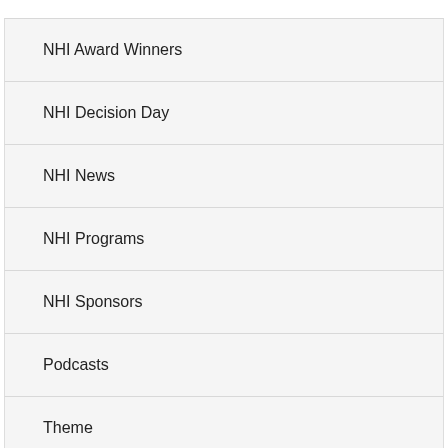NHI Award Winners
NHI Decision Day
NHI News
NHI Programs
NHI Sponsors
Podcasts
Theme
Uncategorized